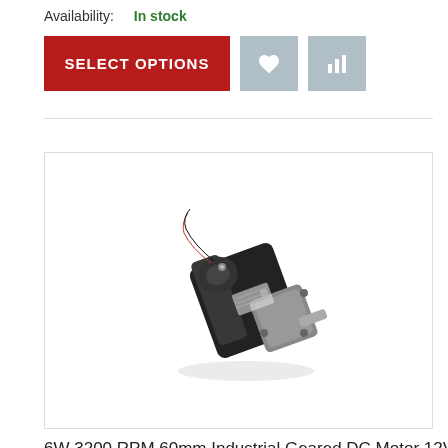Availability:   In stock
SELECT OPTIONS
[Figure (photo): Photo of a 6W 3200 RPM 60mm Industrial Geared DC Motor 12V — a black cylindrical motor with a mounting flange, output shaft, and red/black wires emerging from one end. Positioned diagonally on a white background.]
6W 3200 RPM 60mm Industrial Geared DC Motor 12V
$71.94 (Inc GST) ($71.94 inc tax)